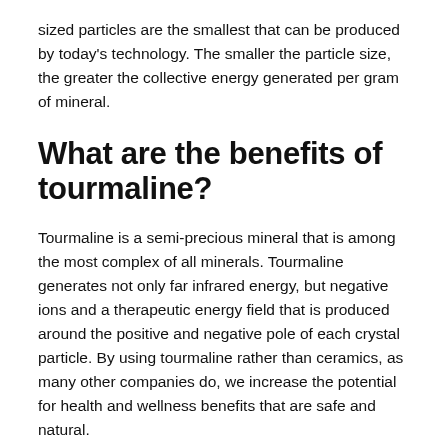sized particles are the smallest that can be produced by today's technology. The smaller the particle size, the greater the collective energy generated per gram of mineral.
What are the benefits of tourmaline?
Tourmaline is a semi-precious mineral that is among the most complex of all minerals. Tourmaline generates not only far infrared energy, but negative ions and a therapeutic energy field that is produced around the positive and negative pole of each crystal particle. By using tourmaline rather than ceramics, as many other companies do, we increase the potential for health and wellness benefits that are safe and natural.